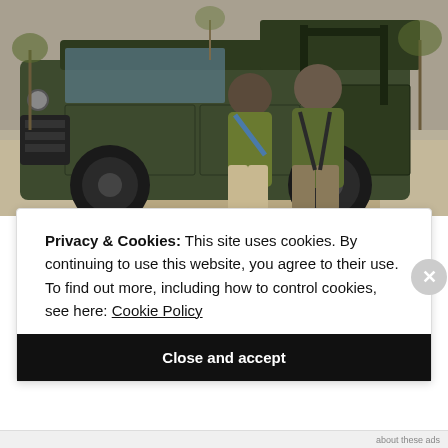[Figure (photo): Two people standing in front of a dark green Land Rover safari vehicle on a dry savanna landscape. The woman on the left wears a green shirt and khaki pants with a blue camera bag strap. The man on the right wears a green shirt and brown pants with a backpack. Sparse dry trees are visible in the background.]
Privacy & Cookies: This site uses cookies. By continuing to use this website, you agree to their use.
To find out more, including how to control cookies, see here: Cookie Policy
Close and accept